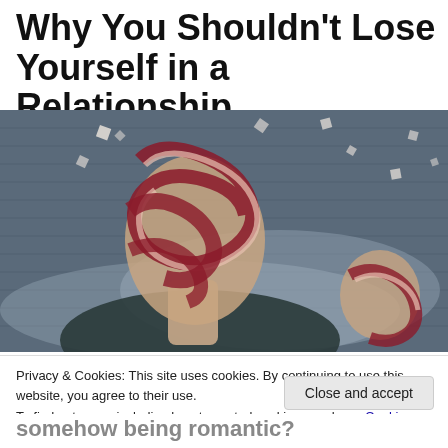Why You Shouldn't Lose Yourself in a Relationship
[Figure (photo): Surreal digital art of a woman whose face is wrapped in spiraling strips of tape/ribbon, with small squares flying around her, against a dark brick wall background. Her right hand is also shown with ribbon patterns.]
Privacy & Cookies: This site uses cookies. By continuing to use this website, you agree to their use.
To find out more, including how to control cookies, see here: Cookie Policy
somehow being romantic?